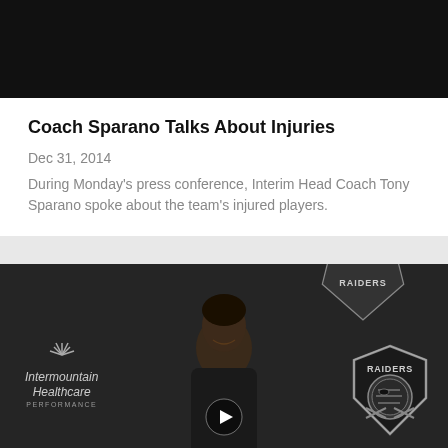[Figure (photo): Dark black image at top of page, possibly partial video thumbnail]
Coach Sparano Talks About Injuries
Dec 31, 2014
During Monday's press conference, Interim Head Coach Tony Sparano spoke about the team's injured players.
[Figure (photo): Video thumbnail showing a person at a Raiders press conference backdrop with Intermountain Healthcare sponsor logo and Raiders shield logo. A play button is visible in the center bottom.]